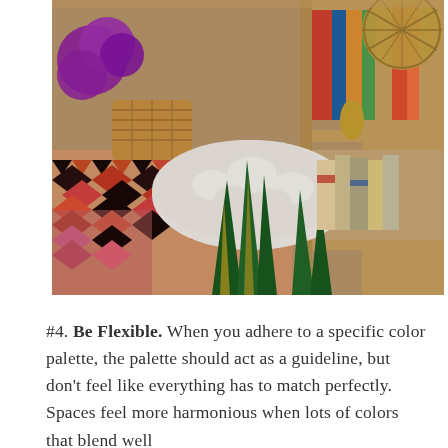[Figure (photo): A colorful, eclectic styled shelfscape showing a wooden bookshelf with books, a rattan ball lamp, a white fluffy sheepskin rug, snake plant leaves in the foreground, a colorful geometric patterned kilim rug on the floor, purple flowers, woven baskets, and decorative objects in warm and vibrant colors.]
#4. Be Flexible. When you adhere to a specific color palette, the palette should act as a guideline, but don't feel like everything has to match perfectly. Spaces feel more harmonious when lots of colors that blend well